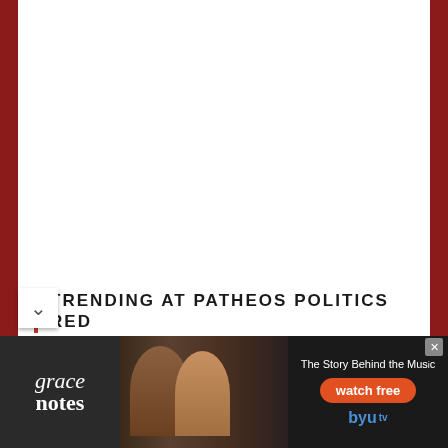TRENDING AT PATHEOS POLITICS RED
[Figure (photo): Thumbnail photo of a person's face in sepia/muted tones]
Christians should care about politics. Here are 4...
[Figure (photo): Grace Notes advertisement banner — logo on left with two people singing in center, watch free button and BYU tv logo on right. Tagline: The Story Behind the Music]